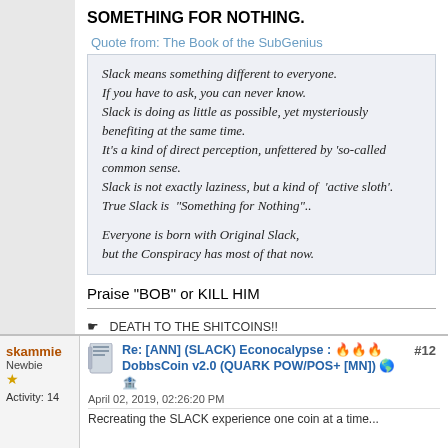SOMETHING FOR NOTHING.
Quote from: The Book of the SubGenius
Slack means something different to everyone.
If you have to ask, you can never know.
Slack is doing as little as possible, yet mysteriously benefiting at the same time.
It's a kind of direct perception, unfettered by 'so-called common sense.
Slack is not exactly laziness, but a kind of  'active sloth'.
True Slack is  "Something for Nothing"..

Everyone is born with Original Slack,
but the Conspiracy has most of that now.
Praise "BOB" or KILL HIM
☛   DEATH TO THE SHITCOINS!!
PRAISE "BOB" - http://www.dobbscoin.info
Re: [ANN] (SLACK) Econocalypse : 🔥🔥🔥 DobbsCoin v2.0 (QUARK POW/POS+[MN]) 🌎🏦
April 02, 2019, 02:26:20 PM
skammie
Newbie
Activity: 14
#12